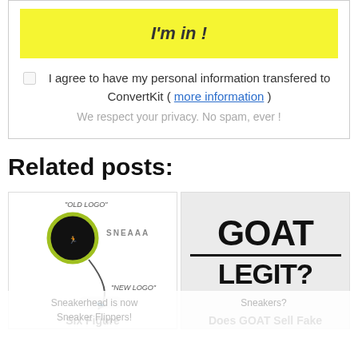I'm in !
I agree to have my personal information transfered to ConvertKit ( more information )
We respect your privacy. No spam, ever !
Related posts:
[Figure (illustration): Sneaker Flippers logo with old logo and new logo annotations, arrow pointing from old to new logo]
Six Figure
[Figure (illustration): GOAT text with horizontal line divider and LEGIT? text below on gray background]
Does GOAT Sell Fake
Sneakerhead is now Sneaker Flippers!
Sneakers?